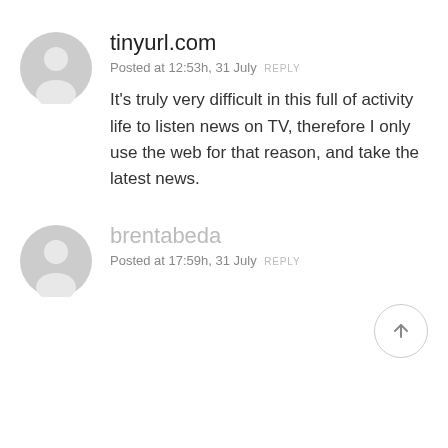[Figure (illustration): Gray placeholder avatar icon — circle with person silhouette, first comment]
tinyurl.com
Posted at 12:53h, 31 July  REPLY
It's truly very difficult in this full of activity life to listen news on TV, therefore I only use the web for that reason, and take the latest news.
[Figure (illustration): Scroll-to-top button: circle with upward arrow]
[Figure (illustration): Gray placeholder avatar icon — circle with person silhouette, second comment]
brentabeda
Posted at 17:59h, 31 July  REPLY